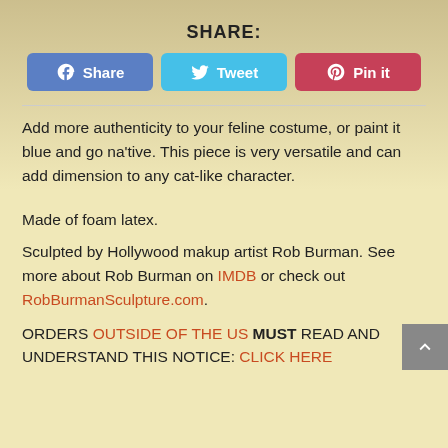SHARE:
[Figure (infographic): Social sharing buttons: Facebook Share (blue), Twitter Tweet (light blue), Pinterest Pin it (red)]
Add more authenticity to your feline costume, or paint it blue and go na'tive. This piece is very versatile and can add dimension to any cat-like character.
Made of foam latex.
Sculpted by Hollywood makup artist Rob Burman. See more about Rob Burman on IMDB or check out RobBurmanSculpture.com.
ORDERS OUTSIDE OF THE US MUST READ AND UNDERSTAND THIS NOTICE: CLICK HERE